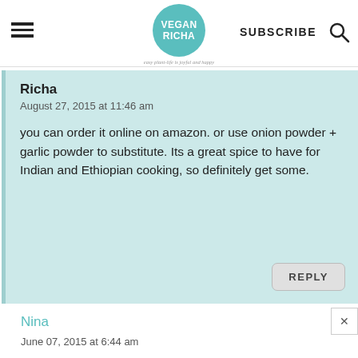VEGAN RICHA | SUBSCRIBE
Richa
August 27, 2015 at 11:46 am

you can order it online on amazon. or use onion powder + garlic powder to substitute. Its a great spice to have for Indian and Ethiopian cooking, so definitely get some.
Nina
June 07, 2015 at 6:44 am